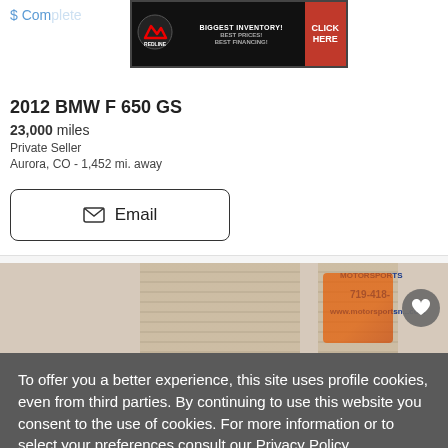$ Com...
[Figure (screenshot): Redline Motors advertisement banner: black background with Redline logo on left, text 'BIGGEST INVENTORY! BEST PRICES! BEST FINANCING!' in center, red 'CLICK HERE' button on right]
2012 BMW F 650 GS
23,000 miles
Private Seller
Aurora, CO - 1,452 mi. away
Email
[Figure (photo): Partial photo of a motorcycle in a dealership showroom. Text visible: MOTORSPORTS, 719-418-, www.motorsportsn...com. Orange/red motorcycle visible on right.]
To offer you a better experience, this site uses profile cookies, even from third parties. By continuing to use this website you consent to the use of cookies. For more information or to select your preferences consult our Privacy Policy
Cookie Settings   ✓ OK   ✕